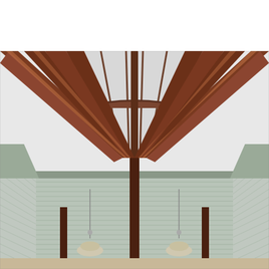[Figure (photo): Interior upward-looking photograph of a large timber-framed pavilion or building structure. The image shows dark reddish-brown wooden rafters and beams converging toward a central skylight with glass panels and glazing bars allowing natural light through. The ceiling below features pale green/gray horizontal ribbed panels (beadboard or metal deck). Several pendant light fixtures with dome shades hang from the ceiling, and recessed can lights are visible at the sides. Vertical structural columns in dark wood are visible at center and sides.]